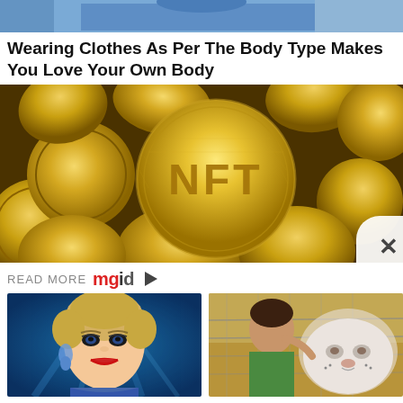[Figure (photo): Top strip showing a person in blue shirt, cropped]
Wearing Clothes As Per The Body Type Makes You Love Your Own Body
[Figure (photo): Gold NFT coins piled up, with one large coin in center reading NFT]
READ MORE mgid
[Figure (photo): Katy Perry with short blonde hair, heavy makeup, smiling]
8 Celebrities People Don't Love Anymore
[Figure (photo): Person kissing a white albino lion through a fence]
27 Breathtakingly Beautiful Albino Animals